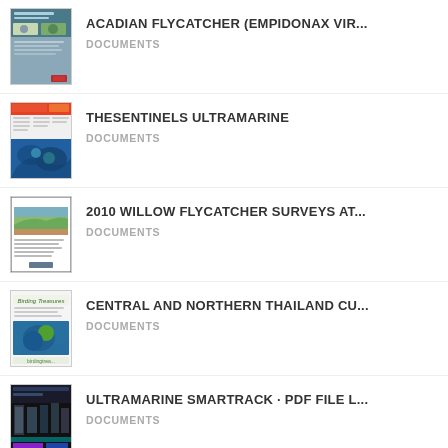ACADIAN FLYCATCHER (EMPIDONAX VIR...
DOCUMENTS
THESENTINELS ULTRAMARINE
DOCUMENTS
2010 WILLOW FLYCATCHER SURVEYS AT...
DOCUMENTS
CENTRAL AND NORTHERN THAILAND CU...
DOCUMENTS
ULTRAMARINE SMARTRACK · PDF FILE L...
DOCUMENTS